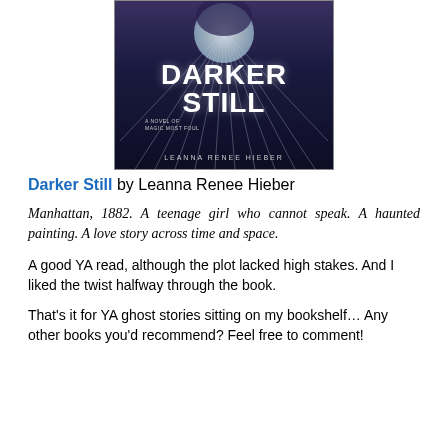[Figure (illustration): Book cover of 'Darker Still: A Novel of Magic Most Foul' by Leanna Renee Hieber. Dark purple/blue background with a glowing moon and radiating light rays. Large white bold text reads 'DARKER STILL'. Below the title is subtitle text 'A Novel of Magic Most Foul' and author name 'Leanna Renee Hieber'.]
Darker Still by Leanna Renee Hieber
Manhattan, 1882. A teenage girl who cannot speak. A haunted painting. A love story across time and space.
A good YA read, although the plot lacked high stakes. And I liked the twist halfway through the book.
That's it for YA ghost stories sitting on my bookshelf… Any other books you'd recommend? Feel free to comment!